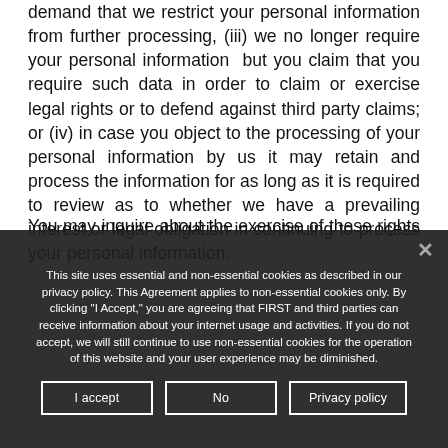processing of your personal information and you demand that we restrict your personal information from further processing, (iii) we no longer require your personal information  but you claim that you require such data in order to claim or exercise legal rights or to defend against third party claims; or (iv) in case you object to the processing of your personal information by us it may retain and process the information for as long as it is required to review as to whether we have a prevailing interest or legal obligation in continuing to process your personal information.
You may inquire about the exercise of these rights and...
This site uses essential and non-essential cookies as described in our privacy policy. This Agreement applies to non-essential cookies only. By clicking "I Accept," you are agreeing that FIRST and third parties can receive information about your internet usage and activities. If you do not accept, we will still continue to use non-essential cookies for the operation of this website and your user experience may be diminished.